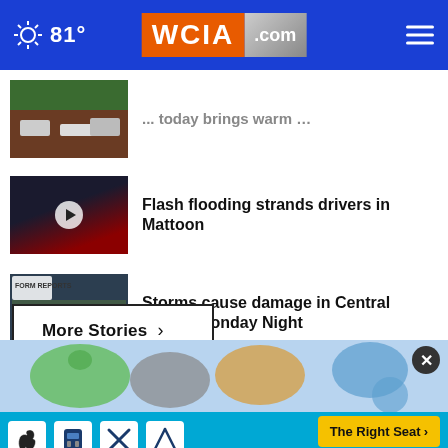WCIA.com — 81°
... today brings warm …
Flash flooding strands drivers in Mattoon
Storms cause damage in Central Illinois Monday Night
More Stories ›
[Figure (photo): Advertisement banner showing child car seat safety campaign with The Right Seat > and NHTSA branding on blue background]